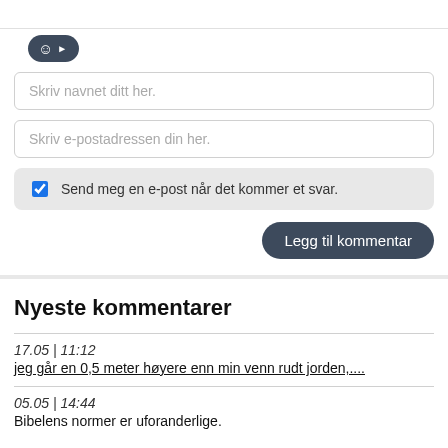[Figure (screenshot): Emoji/smiley button with arrow, dark rounded pill shape]
Skriv navnet ditt her.
Skriv e-postadressen din her.
Send meg en e-post når det kommer et svar.
Legg til kommentar
Nyeste kommentarer
17.05 | 11:12
jeg går en 0,5 meter høyere enn min venn rudt jorden,....
05.05 | 14:44
Bibelens normer er uforanderlige.